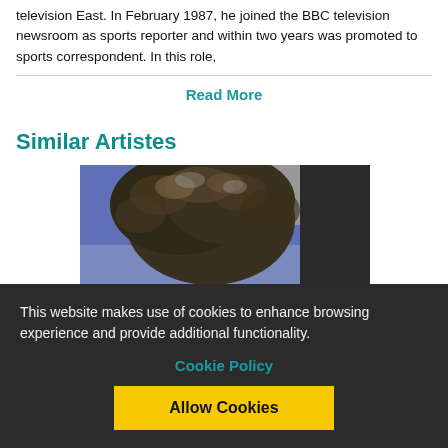television East. In February 1987, he joined the BBC television newsroom as sports reporter and within two years was promoted to sports correspondent. In this role,
Read More
Similar Artistes
[Figure (photo): Partially cropped photo of a person with curly/textured hair against a blue and dark background]
This website makes use of cookies to enhance browsing experience and provide additional functionality.
Cookie Policy
Allow Cookies